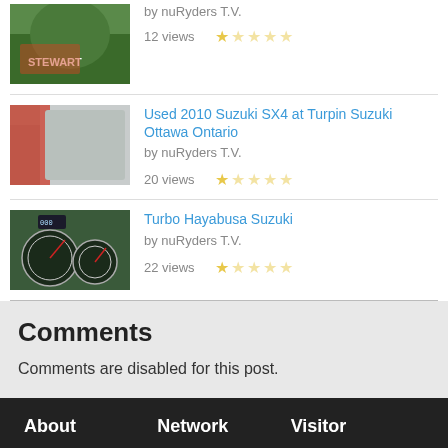by nuRyders T.V. | 12 views | 0 stars
Used 2010 Suzuki SX4 at Turpin Suzuki Ottawa Ontario | by nuRyders T.V. | 20 views | 0 stars
Turbo Hayabusa Suzuki | by nuRyders T.V. | 22 views | 0 stars
Comments
Comments are disabled for this post.
About | Network | Visitor | Add something about nuRyders T.V. | Menu | Tracking